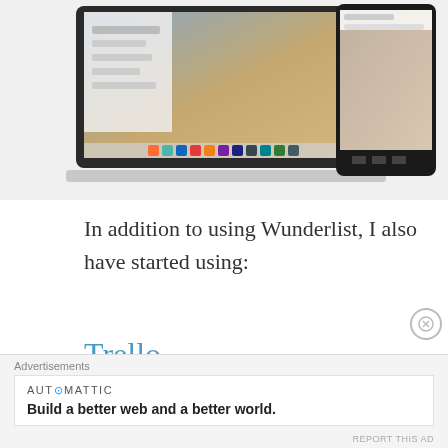[Figure (screenshot): Screenshot of a MacBook laptop and Android phone showing Wunderlist/desktop applications. The laptop screen shows a city skyline background with app sidebar and dock icons. An Android phone is partially visible behind/beside the laptop.]
In addition to using Wunderlist, I also have started using:
Trello
[Figure (logo): Trello app icon/logo — a blue rounded rectangle containing a white stylized letter M shape with two rounded rectangular cutouts, resembling a kanban board.]
Advertisements
[Figure (infographic): Automattic advertisement banner with text: 'AUT⊙MATTIC — Build a better web and a better world.']
REPORT THIS AD